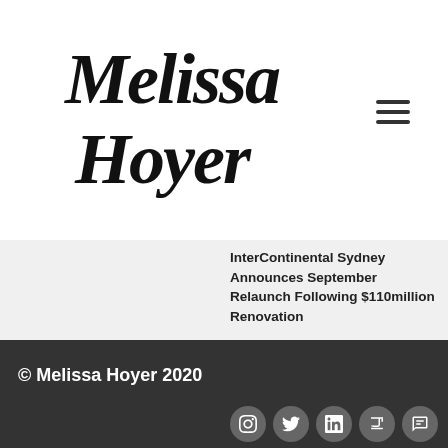[Figure (logo): Melissa Hoyer cursive/script logo in black]
InterContinental Sydney Announces September Relaunch Following $110million Renovation
© Melissa Hoyer 2020